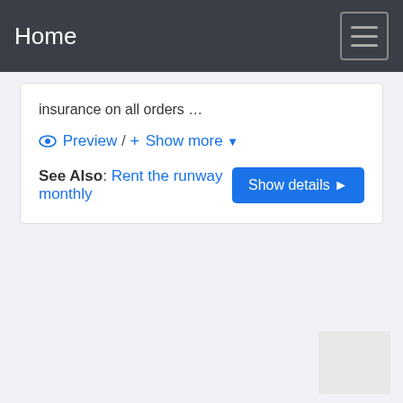Home
insurance on all orders …
👁 Preview / + Show more ▾
See Also: Rent the runway monthly
Show details ▶